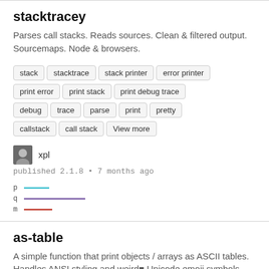stacktracey
Parses call stacks. Reads sources. Clean & filtered output. Sourcemaps. Node & browsers.
stack
stacktrace
stack printer
error printer
print error
print stack
print debug trace
debug
trace
parse
print
pretty
callstack
call stack
View more
xpl
published 2.1.8 • 7 months ago
[Figure (line-chart): Sparkline chart with three lines labeled p (cyan), q (purple), m (red)]
as-table
A simple function that print objects / arrays as ASCII tables. Handles ANSI styling and weird Unicode emoji symbols –